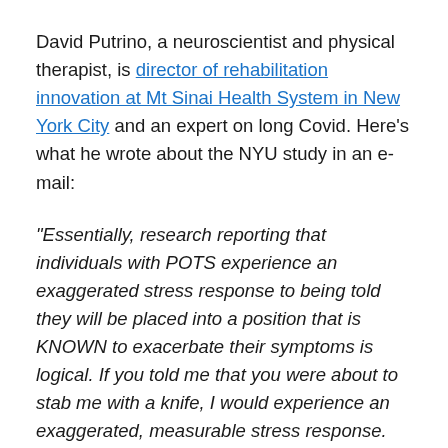David Putrino, a neuroscientist and physical therapist, is director of rehabilitation innovation at Mt Sinai Health System in New York City and an expert on long Covid. Here's what he wrote about the NYU study in an e-mail:
“Essentially, research reporting that individuals with POTS experience an exaggerated stress response to being told they will be placed into a position that is KNOWN to exacerbate their symptoms is logical. If you told me that you were about to stab me with a knife, I would experience an exaggerated, measurable stress response. This doesn’t mean that I’m “afraid of knives”, it just means that I would rather not be stabbed at this time. At best, this